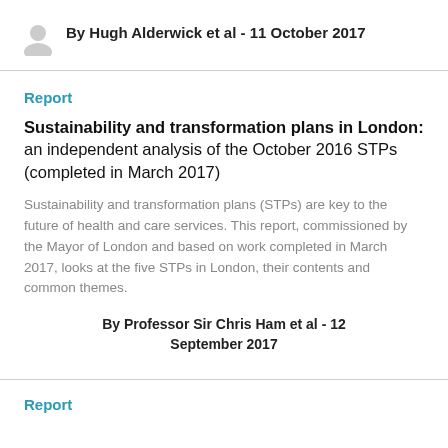By Hugh Alderwick et al - 11 October 2017
Report
Sustainability and transformation plans in London: an independent analysis of the October 2016 STPs (completed in March 2017)
Sustainability and transformation plans (STPs) are key to the future of health and care services. This report, commissioned by the Mayor of London and based on work completed in March 2017, looks at the five STPs in London, their contents and common themes.
By Professor Sir Chris Ham et al - 12 September 2017
Report